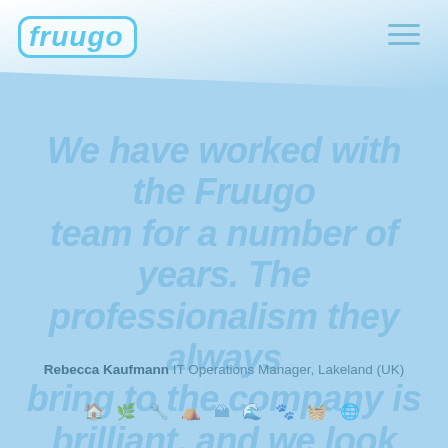[Figure (logo): Fruugo logo - text 'fruugo' in light blue with rounded rectangle border, italic bold font]
We have worked with the Fruugo team for a number of years. The professionalism they always bring to the company is brilliant, and we look forward to continuing our relationship.
Rebecca Kaufmann IT Operations Manager, Lakeland (UK)
[Figure (illustration): Row of small icons/symbols at bottom of page]